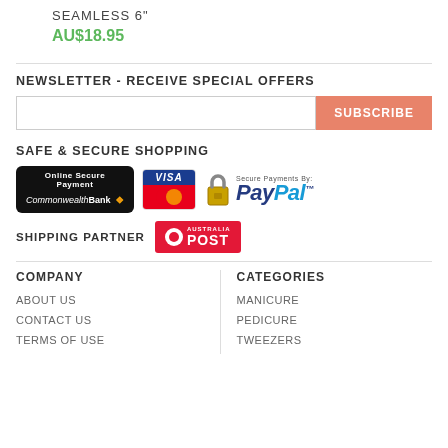SEAMLESS 6"
AU$18.95
NEWSLETTER - RECEIVE SPECIAL OFFERS
SUBSCRIBE
SAFE & SECURE SHOPPING
[Figure (logo): Online Secure Payment Commonwealth Bank badge, Visa/MasterCard badge, and PayPal Secure Payments logo]
SHIPPING PARTNER
[Figure (logo): Australia Post logo badge]
COMPANY
CATEGORIES
ABOUT US
MANICURE
CONTACT US
PEDICURE
TERMS OF USE
TWEEZERS